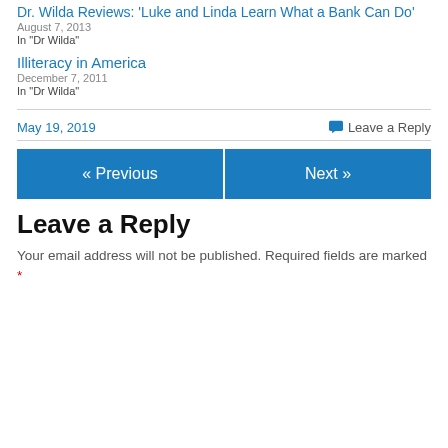Dr. Wilda Reviews: 'Luke and Linda Learn What a Bank Can Do'
August 7, 2013
In "Dr Wilda"
Illiteracy in America
December 7, 2011
In "Dr Wilda"
May 19, 2019
Leave a Reply
« Previous
Next »
Leave a Reply
Your email address will not be published. Required fields are marked *